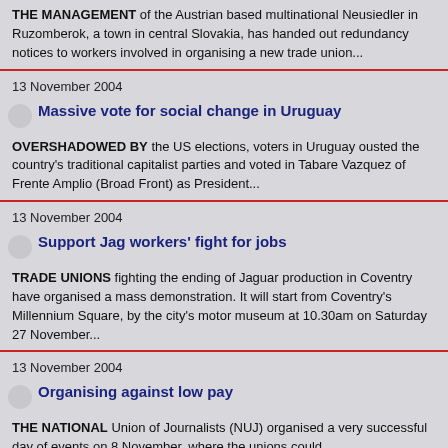THE MANAGEMENT of the Austrian based multinational Neusiedler in Ruzomberok, a town in central Slovakia, has handed out redundancy notices to workers involved in organising a new trade union...
13 November 2004
Massive vote for social change in Uruguay
OVERSHADOWED BY the US elections, voters in Uruguay ousted the country's traditional capitalist parties and voted in Tabare Vazquez of Frente Amplio (Broad Front) as President...
13 November 2004
Support Jag workers' fight for jobs
TRADE UNIONS fighting the ending of Jaguar production in Coventry have organised a mass demonstration. It will start from Coventry's Millennium Square, by the city's motor museum at 10.30am on Saturday 27 November...
13 November 2004
Organising against low pay
THE NATIONAL Union of Journalists (NUJ) organised a very successful day of events on 8 November, where the unions could...